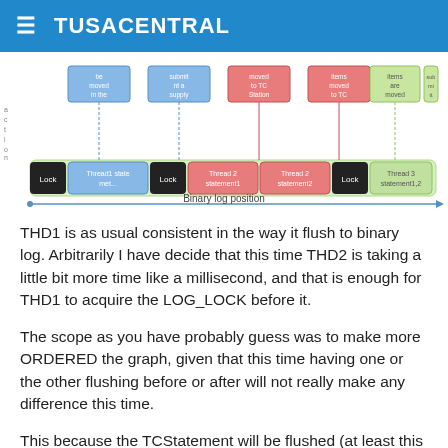≡ TUSACENTRAL
[Figure (infographic): Diagram showing binary log position with thread statements (Thread1, Thread2, Thread3), Lock blocks, and annotations about TC Station, moved to TC, and supply actions. A horizontal arrow labeled 'Binary log position' runs along the bottom.]
THD1 is as usual consistent in the way it flush to binary log. Arbitrarily I have decide that this time THD2 is taking a little bit more time like a millisecond, and that is enough for THD1 to acquire the LOG_LOCK before it.
The scope as you have probably guess was to make more ORDERED the graph, given that this time having one or the other flushing before or after will not really make any difference this time.
This because the TCStatement will be flushed (at least this is what I have seen and understood) when the TC is flushed.